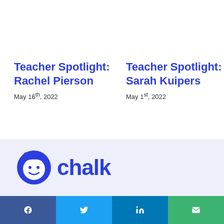Teacher Spotlight: Rachel Pierson
May 16th, 2022
Teacher Spotlight: Sarah Kuipers
May 1st, 2022
[Figure (logo): Chalk logo with illustrated face icon and the word 'chalk' in blue on a light blue-grey background]
Facebook | Twitter | LinkedIn | Email social sharing buttons